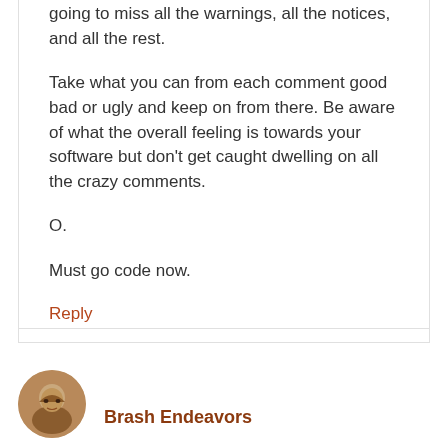going to miss all the warnings, all the notices, and all the rest.
Take what you can from each comment good bad or ugly and keep on from there. Be aware of what the overall feeling is towards your software but don’t get caught dwelling on all the crazy comments.
O.
Must go code now.
Reply
Brash Endeavors